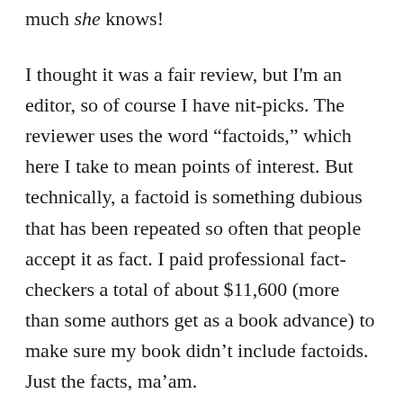much she knows!
I thought it was a fair review, but I'm an editor, so of course I have nit-picks. The reviewer uses the word “factoids,” which here I take to mean points of interest. But technically, a factoid is something dubious that has been repeated so often that people accept it as fact. I paid professional fact-checkers a total of about $11,600 (more than some authors get as a book advance) to make sure my book didn’t include factoids. Just the facts, ma’am.
My only substantive dispute involves a line I found kind of amusing: “Mechanic is happy to report that the rich are often bored and miserable…”